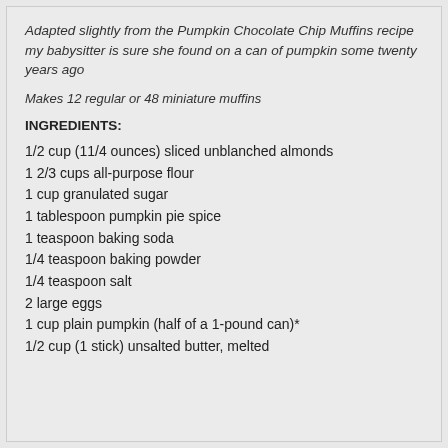Adapted slightly from the Pumpkin Chocolate Chip Muffins recipe my babysitter is sure she found on a can of pumpkin some twenty years ago
Makes 12 regular or 48 miniature muffins
INGREDIENTS:
1/2 cup (11/4 ounces) sliced unblanched almonds
1 2/3 cups all-purpose flour
1 cup granulated sugar
1 tablespoon pumpkin pie spice
1 teaspoon baking soda
1/4 teaspoon baking powder
1/4 teaspoon salt
2 large eggs
1 cup plain pumpkin (half of a 1-pound can)*
1/2 cup (1 stick) unsalted butter, melted